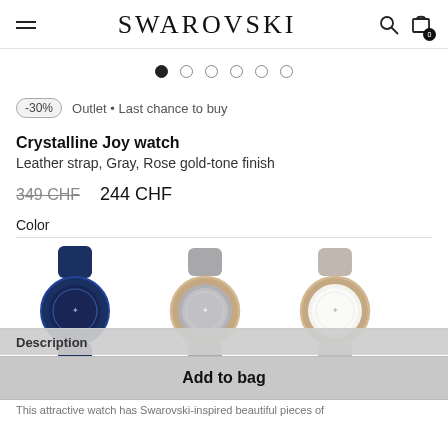SWAROVSKI
[Figure (other): Carousel navigation dots, first dot filled/active, five empty dots]
-30%  Outlet • Last chance to buy
Crystalline Joy watch
Leather strap, Gray, Rose gold-tone finish
349 CHF  244 CHF
Color
[Figure (photo): Three color variants of the Crystalline Joy watch: navy blue with blue leather strap, gray dial with gray strap, white/cream dial with beige strap]
Description
Add to bag
This attractive watch has Swarovski-inspired beautiful pieces of...